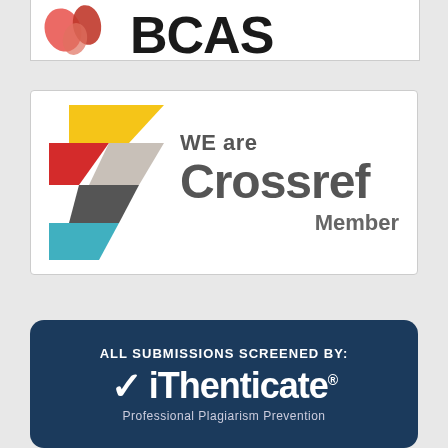[Figure (logo): Partial view of a logo badge at the top of the page, showing decorative red/salmon colored shapes on the left and bold black text partially visible on the right]
[Figure (logo): Crossref Member badge: colorful arrow/chevron logo on the left (yellow, red, gray, dark, teal layers), text on the right reading 'WE are Crossref Member' in dark gray]
[Figure (logo): iThenticate badge on dark navy background: 'ALL SUBMISSIONS SCREENED BY:' in white caps, large checkmark with 'iThenticate®' branding, subtitle 'Professional Plagiarism Prevention']